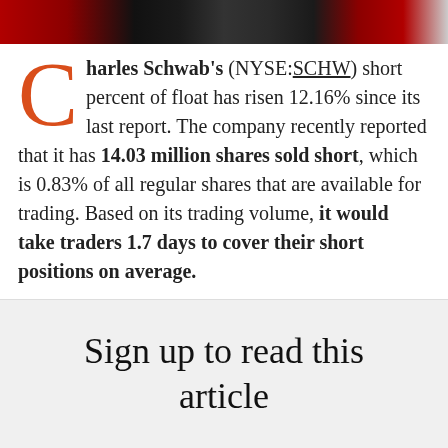[Figure (photo): Stock market candlestick chart background image in red and green tones]
Charles Schwab's (NYSE:SCHW) short percent of float has risen 12.16% since its last report. The company recently reported that it has 14.03 million shares sold short, which is 0.83% of all regular shares that are available for trading. Based on its trading volume, it would take traders 1.7 days to cover their short positions on average.
Why Short Interest Matters
Sign up to read this article